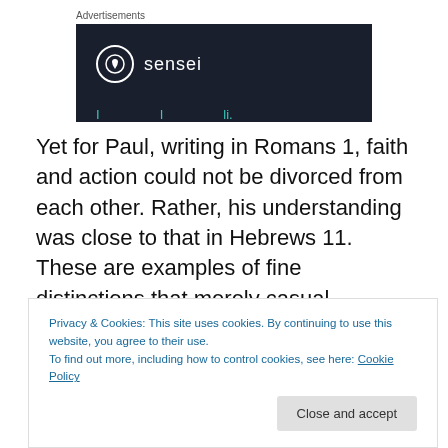Advertisements
[Figure (logo): Sensei brand advertisement banner with dark navy background, circular logo with tree icon, and 'sensei' text in white]
Yet for Paul, writing in Romans 1, faith and action could not be divorced from each other.  Rather, his understanding was close to that in Hebrews 11.  These are examples of fine distinctions that merely casual
Privacy & Cookies: This site uses cookies. By continuing to use this website, you agree to their use.
To find out more, including how to control cookies, see here: Cookie Policy
understanding of what it means.